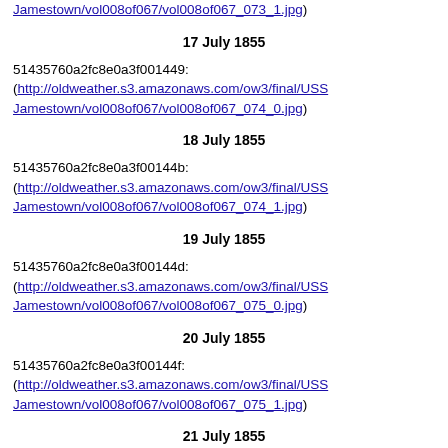Jamestown/vol008of067/vol008of067_073_1.jpg)
17 July 1855
51435760a2fc8e0a3f001449:
(http://oldweather.s3.amazonaws.com/ow3/final/USSJamestown/vol008of067/vol008of067_074_0.jpg)
18 July 1855
51435760a2fc8e0a3f00144b:
(http://oldweather.s3.amazonaws.com/ow3/final/USSJamestown/vol008of067/vol008of067_074_1.jpg)
19 July 1855
51435760a2fc8e0a3f00144d:
(http://oldweather.s3.amazonaws.com/ow3/final/USSJamestown/vol008of067/vol008of067_075_0.jpg)
20 July 1855
51435760a2fc8e0a3f00144f:
(http://oldweather.s3.amazonaws.com/ow3/final/USSJamestown/vol008of067/vol008of067_075_1.jpg)
21 July 1855
Lat 32.42, Long -16.90